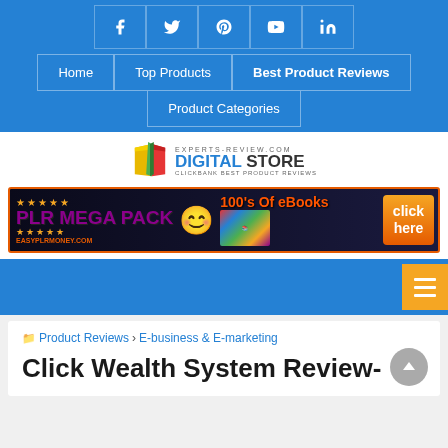Social icons: Facebook, Twitter, Pinterest, YouTube, LinkedIn
Home | Top Products | Best Product Reviews | Product Categories
[Figure (logo): Experts-review.com Digital Store - Clickbank Best Product Reviews logo with open book icon]
[Figure (illustration): PLR Mega Pack banner - 100's of eBooks - easyplrmoney.com - click here button]
Product Reviews › E-business & E-marketing
Click Wealth System Review-